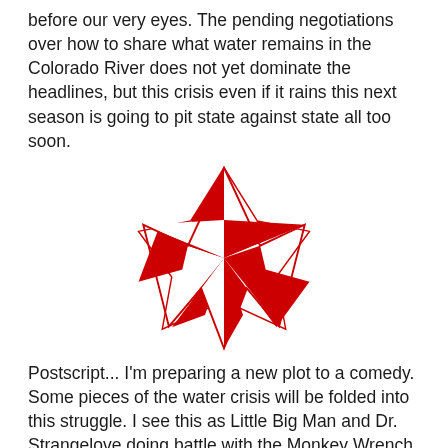before our very eyes. The pending negotiations over how to share what water remains in the Colorado River does not yet dominate the headlines, but this crisis even if it rains this next season is going to pit state against state all too soon.
[Figure (illustration): A red nautical star (five-pointed star with alternating red and white triangular sections), centered on the page.]
Postscript... I'm preparing a new plot to a comedy. Some pieces of the water crisis will be folded into this struggle. I see this as Little Big Man and Dr. Strangelove doing battle with the Monkey Wrench Gang. I remind myself while trying to plot this story that Hayduke and Mandrake are both still very much alive!